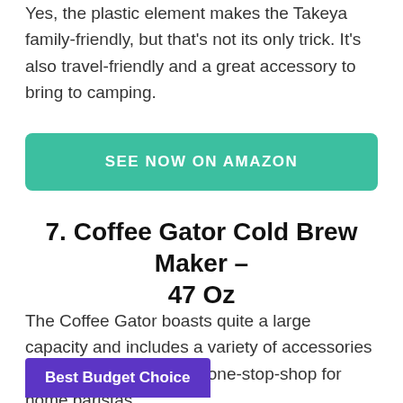Yes, the plastic element makes the Takeya family-friendly, but that's not its only trick. It's also travel-friendly and a great accessory to bring to camping.
SEE NOW ON AMAZON
7. Coffee Gator Cold Brew Maker – 47 Oz
The Coffee Gator boasts quite a large capacity and includes a variety of accessories that make this brewer a one-stop-shop for home baristas.
Best Budget Choice